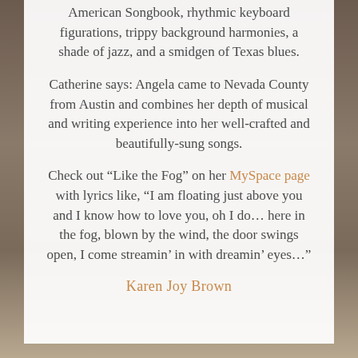American Songbook, rhythmic keyboard figurations, trippy background harmonies, a shade of jazz, and a smidgen of Texas blues.
Catherine says: Angela came to Nevada County from Austin and combines her depth of musical and writing experience into her well-crafted and beautifully-sung songs.
Check out “Like the Fog” on her MySpace page with lyrics like, “I am floating just above you and I know how to love you, oh I do… here in the fog, blown by the wind, the door swings open, I come streamin’ in with dreamin’ eyes…”
Karen Joy Brown